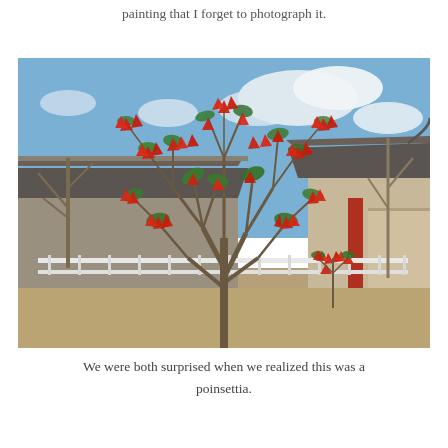painting that I forget to photograph it.
[Figure (photo): A large poinsettia tree with red blooms and bare branches, growing in front of a traditional Chinese-style building with tiled rooflines and red columns, under a partly cloudy blue sky. The tree stands in a dry grassy area with a low white railing visible behind it.]
We were both surprised when we realized this was a poinsettia.